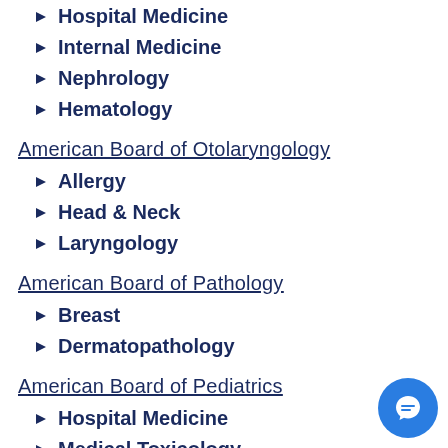Hospital Medicine
Internal Medicine
Nephrology
Hematology
American Board of Otolaryngology
Allergy
Head & Neck
Laryngology
American Board of Pathology
Breast
Dermatopathology
American Board of Pediatrics
Hospital Medicine
Medical Toxicology
Pediatric Emergency Medicine